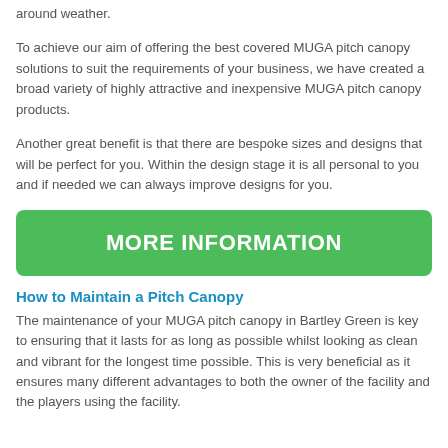around weather.
To achieve our aim of offering the best covered MUGA pitch canopy solutions to suit the requirements of your business, we have created a broad variety of highly attractive and inexpensive MUGA pitch canopy products.
Another great benefit is that there are bespoke sizes and designs that will be perfect for you. Within the design stage it is all personal to you and if needed we can always improve designs for you.
[Figure (other): Green button labeled MORE INFORMATION]
How to Maintain a Pitch Canopy
The maintenance of your MUGA pitch canopy in Bartley Green is key to ensuring that it lasts for as long as possible whilst looking as clean and vibrant for the longest time possible. This is very beneficial as it ensures many different advantages to both the owner of the facility and the players using the facility.